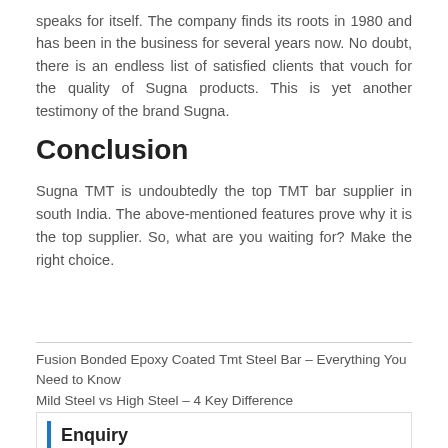speaks for itself. The company finds its roots in 1980 and has been in the business for several years now. No doubt, there is an endless list of satisfied clients that vouch for the quality of Sugna products. This is yet another testimony of the brand Sugna.
Conclusion
Sugna TMT is undoubtedly the top TMT bar supplier in south India. The above-mentioned features prove why it is the top supplier. So, what are you waiting for? Make the right choice.
Fusion Bonded Epoxy Coated Tmt Steel Bar – Everything You Need to Know
Mild Steel vs High Steel – 4 Key Difference
Enquiry